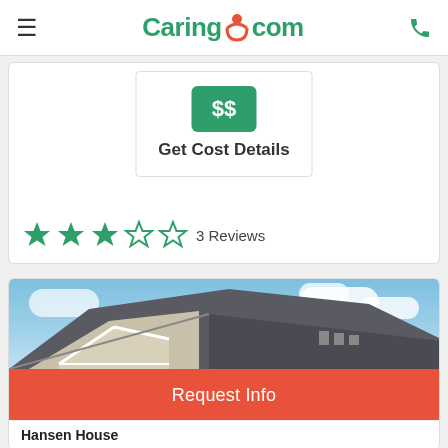Caring.com navigation bar
$$ Get Cost Details
3 Reviews
[Figure (photo): Exterior photo of Hansen House building with grey roof and white gables against a blue cloudy sky]
Request Info
Hansen House